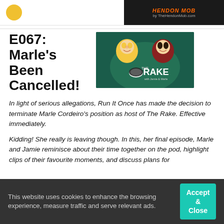[Figure (logo): Top banner with yellow circle logo on left and TheHendonMob.com logo on dark background on right]
E067: Marle’s Been Cancelled!
[Figure (illustration): Podcast thumbnail showing two animated women and text THE RAKE with Jamie & Marle on teal background]
In light of serious allegations, Run It Once has made the decision to terminate Marle Cordeiro’s position as host of The Rake. Effective immediately.
Kidding! She really is leaving though. In this, her final episode, Marle and Jamie reminisce about their time together on the pod, highlight clips of their favourite moments, and discuss plans for
This website uses cookies to enhance the browsing experience, measure traffic and serve relevant ads.